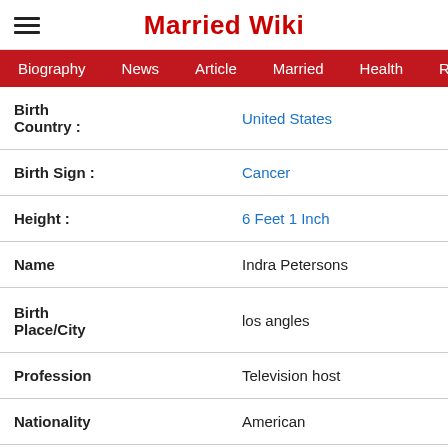Married Wiki
Biography | News | Article | Married | Health | Relationship | Ga
| Birth Country : | United States |
| Birth Sign : | Cancer |
| Height : | 6 Feet 1 Inch |
| Name | Indra Petersons |
| Birth Place/City | los angles |
| Profession | Television host |
| Nationality | American |
| Working For | CNN |